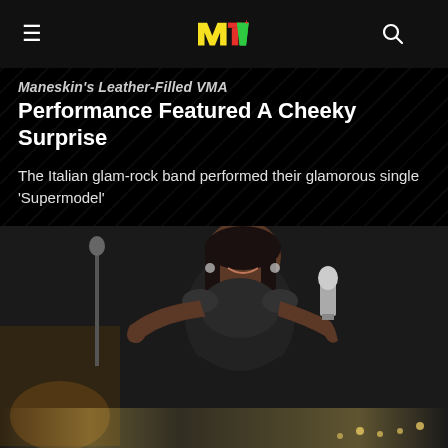MTV
Maneskin's Leather-Filled VMA Performance Featured A Cheeky Surprise
The Italian glam-rock band performed their glamorous single 'Supermodel'
08/28/2022
[Figure (photo): A woman in a black dress smiling and holding an MTV VMA award trophy on stage]